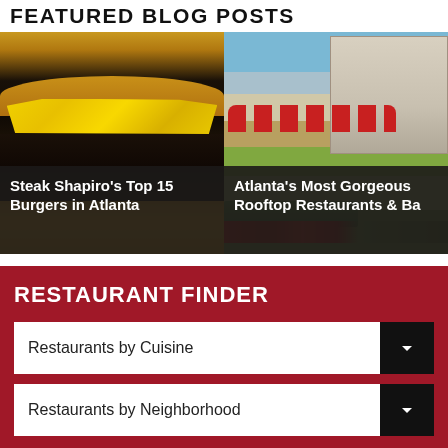FEATURED BLOG POSTS
[Figure (photo): Close-up photo of a cheeseburger with melted yellow cheese and dark beef patty]
Steak Shapiro's Top 15 Burgers in Atlanta
[Figure (photo): Aerial view of rooftop restaurant with red umbrellas, tables, and city building in background]
Atlanta's Most Gorgeous Rooftop Restaurants & Ba
RESTAURANT FINDER
Restaurants by Cuisine
Restaurants by Neighborhood